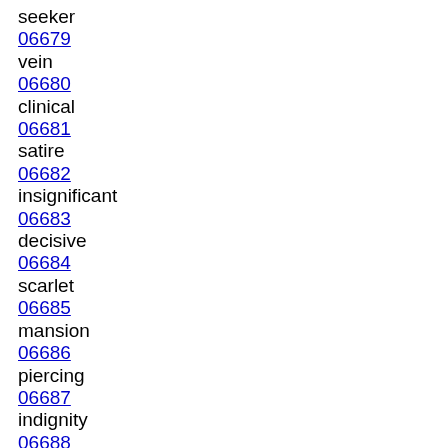seeker
06679
vein
06680
clinical
06681
satire
06682
insignificant
06683
decisive
06684
scarlet
06685
mansion
06686
piercing
06687
indignity
06688
furious
06689